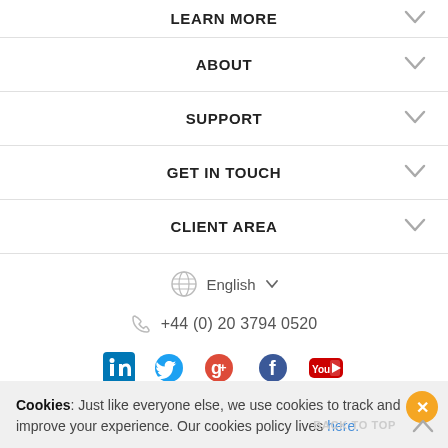LEARN MORE
ABOUT
SUPPORT
GET IN TOUCH
CLIENT AREA
English
+44 (0) 20 3794 0520
[Figure (illustration): Social media icons: LinkedIn, Twitter, Google+, Facebook, YouTube]
Cookies: Just like everyone else, we use cookies to track and improve your experience. Our cookies policy lives here.
BACK TO TOP